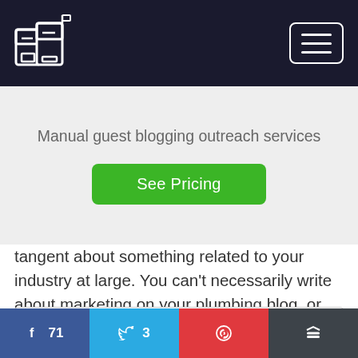Manual guest blogging outreach services
Manual guest blogging outreach services
See Pricing
tangent about something related to your industry at large. You can't necessarily write about marketing on your plumbing blog, or whatever.
f 71   3   (pinterest)   (buffer)